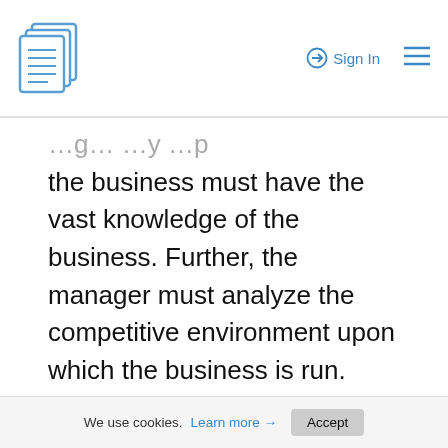Sign In
the business must have the vast knowledge of the business. Further, the manager must analyze the competitive environment upon which the business is run. This analysis can be achieved through the SWOT analysis. The club must be audited for its strengths, weaknesses, opportunities, and threats to guide the manager during decision-making. Beyond the analysis, the manager can make key decisions that ensure that the weaknesses are minimized, emerging opportunities in the market are utilized and any arising threats predetermined and addressed
We use cookies. Learn more → Accept